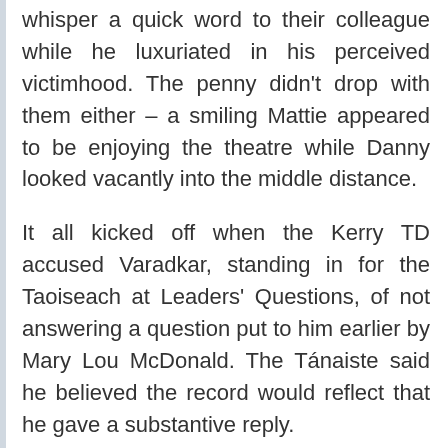whisper a quick word to their colleague while he luxuriated in his perceived victimhood. The penny didn't drop with them either – a smiling Mattie appeared to be enjoying the theatre while Danny looked vacantly into the middle distance.
It all kicked off when the Kerry TD accused Varadkar, standing in for the Taoiseach at Leaders' Questions, of not answering a question put to him earlier by Mary Lou McDonald. The Tánaiste said he believed the record would reflect that he gave a substantive reply.
“The fact, deputy, that you didn’t like it or understand it is more a reflection on you than it